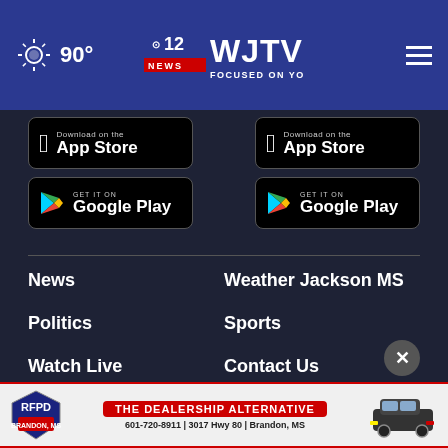90° WJTV 12 News Focused on You
[Figure (screenshot): App Store download button (black, Apple logo)]
[Figure (screenshot): Google Play download button (black, Play logo)]
[Figure (screenshot): App Store download button (black, Apple logo) - right column]
[Figure (screenshot): Google Play download button (black, Play logo) - right column]
News
Weather Jackson MS
Politics
Sports
Watch Live
Contact Us
About Us
[Figure (infographic): RFPD ad banner: THE DEALERSHIP ALTERNATIVE, 601-720-8911 | 3017 Hwy 80 | Brandon, MS]